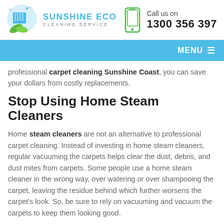[Figure (logo): Sunshine Eco Cleaning Service logo with building and green leaves on blue water drop background]
Call us on 1300 356 397
MENU
professional carpet cleaning Sunshine Coast, you can save your dollars from costly replacements.
Stop Using Home Steam Cleaners
Home steam cleaners are not an alternative to professional carpet cleaning. Instead of investing in home steam cleaners, regular vacuuming the carpets helps clear the dust, debris, and dust mites from carpets. Some people use a home steam cleaner in the wrong way, over watering or over shampooing the carpet, leaving the residue behind which further worsens the carpet's look. So, be sure to rely on vacuuming and vacuum the carpets to keep them looking good.